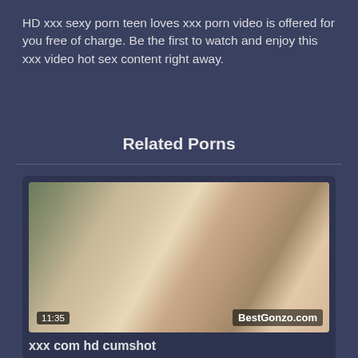HD xxx sexy porn teen loves xxx porn video is offered for you free of charge. Be the first to watch and enjoy this xxx video hot sex content right away.
Related Porns
[Figure (photo): Thumbnail image for adult video with timestamp 11:35 and BestGonzo.com watermark]
xxx com hd cumshot